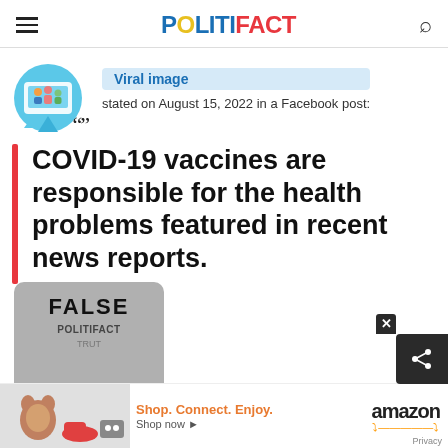POLITIFACT
Viral image
stated on August 15, 2022 in a Facebook post:
COVID-19 vaccines are responsible for the health problems featured in recent news reports.
[Figure (other): Verdict stamp image showing FALSE label from PolitiFact]
[Figure (other): Amazon advertisement banner with product images, 'Shop. Connect. Enjoy.' tagline and 'Shop now' link]